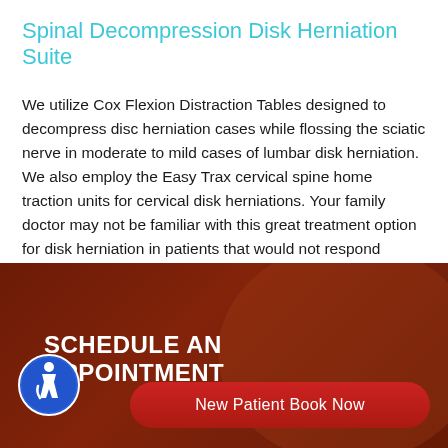Spinal Decompression Disk Herniation Suite
We utilize Cox Flexion Distraction Tables designed to decompress disc herniation cases while flossing the sciatic nerve in moderate to mild cases of lumbar disk herniation. We also employ the Easy Trax cervical spine home traction units for cervical disk herniations. Your family doctor may not be familiar with this great treatment option for disk herniation in patients that would not respond favorably to tradition physical therapy or chiropractic care.
SCHEDULE AN APPOINTMENT
[Figure (logo): Blue circular accessibility icon with wheelchair user symbol]
New Patient Book Now